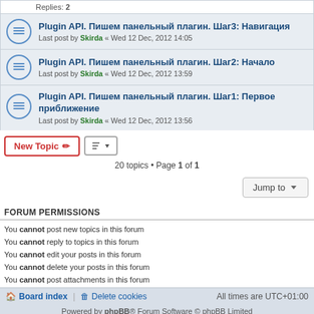Replies: 2
Plugin API. Пишем панельный плагин. Шаг3: Навигация — Last post by Skirda « Wed 12 Dec, 2012 14:05
Plugin API. Пишем панельный плагин. Шаг2: Начало — Last post by Skirda « Wed 12 Dec, 2012 13:59
Plugin API. Пишем панельный плагин. Шаг1: Первое приближение — Last post by Skirda « Wed 12 Dec, 2012 13:56
20 topics • Page 1 of 1
FORUM PERMISSIONS
You cannot post new topics in this forum
You cannot reply to topics in this forum
You cannot edit your posts in this forum
You cannot delete your posts in this forum
You cannot post attachments in this forum
Board index | Delete cookies | All times are UTC+01:00
Powered by phpBB® Forum Software © phpBB Limited
Privacy | Terms